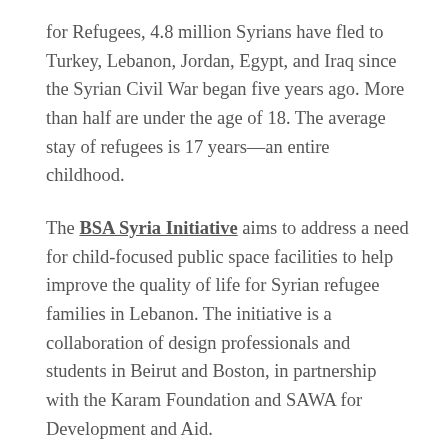for Refugees, 4.8 million Syrians have fled to Turkey, Lebanon, Jordan, Egypt, and Iraq since the Syrian Civil War began five years ago. More than half are under the age of 18. The average stay of refugees is 17 years—an entire childhood.
The BSA Syria Initiative aims to address a need for child-focused public space facilities to help improve the quality of life for Syrian refugee families in Lebanon. The initiative is a collaboration of design professionals and students in Beirut and Boston, in partnership with the Karam Foundation and SAWA for Development and Aid.
What roles can design—and designers—play in the face of such overwhelming challenges?